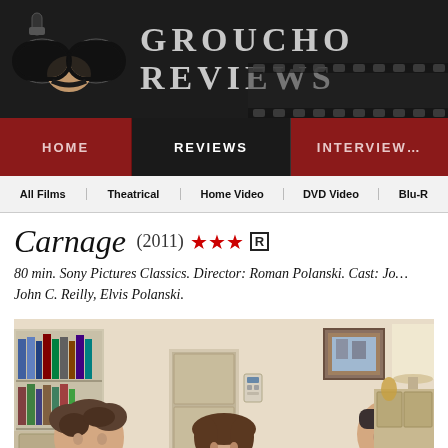Groucho Reviews
HOME | REVIEWS | INTERVIEWS
All Films | Theatrical | Home Video | DVD Video | Blu-R
Carnage (2011) ★★★ R
80 min. Sony Pictures Classics. Director: Roman Polanski. Cast: Jo... John C. Reilly, Elvis Polanski.
[Figure (photo): Movie still from Carnage (2011) showing three actors seated around a table in an apartment setting.]